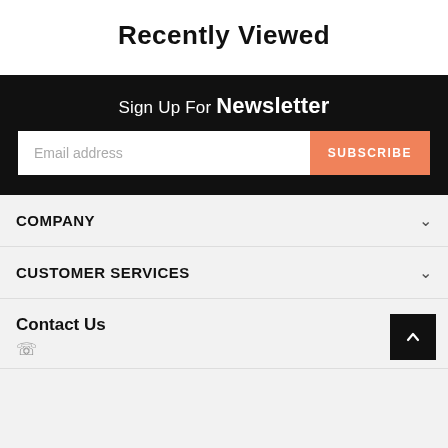Recently Viewed
Sign Up For Newsletter
Email address
SUBSCRIBE
COMPANY
CUSTOMER SERVICES
Contact Us